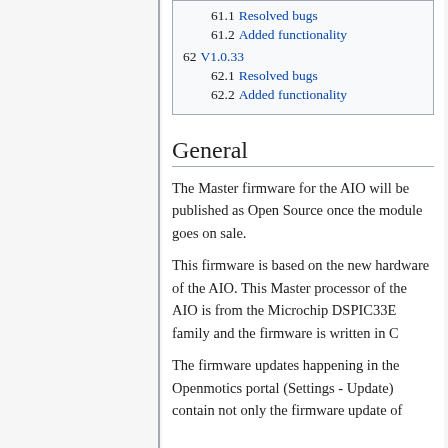61.1 Resolved bugs
61.2 Added functionality
62 V1.0.33
62.1 Resolved bugs
62.2 Added functionality
General
The Master firmware for the AIO will be published as Open Source once the module goes on sale.
This firmware is based on the new hardware of the AIO. This Master processor of the AIO is from the Microchip DSPIC33E family and the firmware is written in C
The firmware updates happening in the Openmotics portal (Settings - Update) contain not only the firmware update of